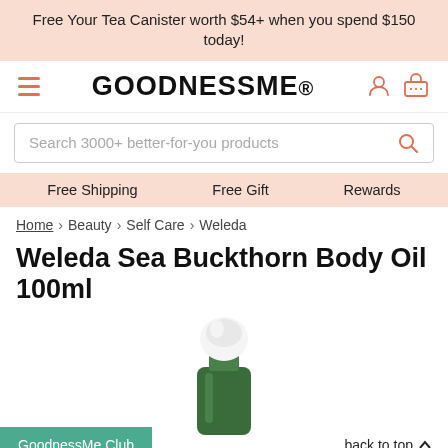Free Your Tea Canister worth $54+ when you spend $150 today!
[Figure (logo): GoodnessMe logo with hamburger menu and account/cart icons]
Search 3000+ better-for-you products
Free Shipping   Free Gift   Rewards
Home › Beauty › Self Care › Weleda
Weleda Sea Buckthorn Body Oil 100ml
[Figure (photo): Partial view of Weleda Sea Buckthorn Body Oil green bottle top with white dropper cap]
GoodnessMe Club
back to top